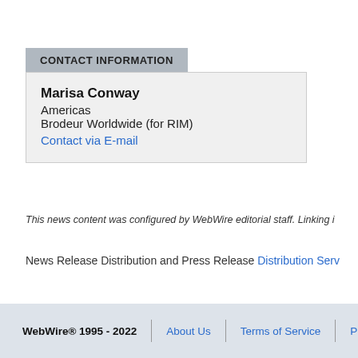CONTACT INFORMATION
Marisa Conway
Americas
Brodeur Worldwide (for RIM)
Contact via E-mail
This news content was configured by WebWire editorial staff. Linking i
News Release Distribution and Press Release Distribution Serv
WebWire® 1995 - 2022  |  About Us  |  Terms of Service  |  P